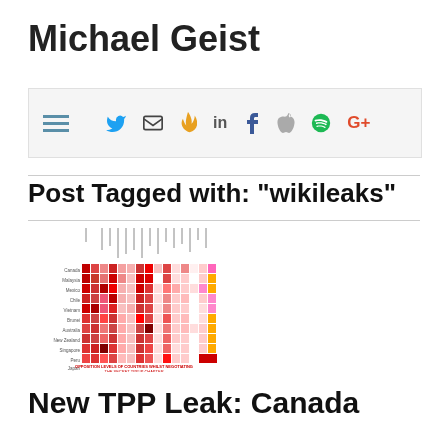Michael Geist
[Figure (screenshot): Navigation bar with menu icon and social media icons: Twitter, email, fire/Feedly, LinkedIn, Facebook, Apple, Spotify, Google+]
Post Tagged with: "wikileaks"
[Figure (other): Heatmap showing opposition levels of countries whilst negotiating the secret TPP IP chapter. Countries listed on Y-axis, chapters/topics on X-axis, colored red for opposition levels.]
New TPP Leak: Canada